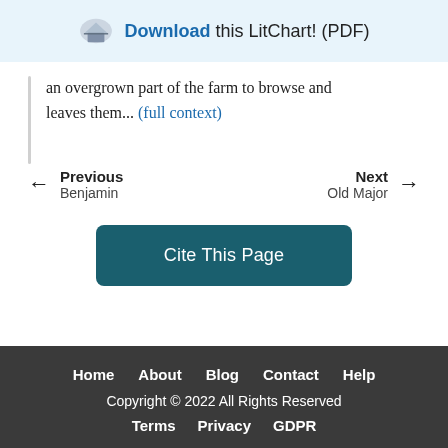Download this LitChart! (PDF)
an overgrown part of the farm to browse and leaves them... (full context)
Previous Benjamin
Next Old Major
Cite This Page
Home   About   Blog   Contact   Help
Copyright © 2022 All Rights Reserved
Terms   Privacy   GDPR